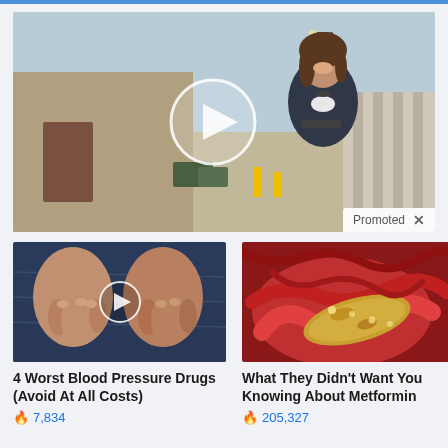[Figure (photo): Video thumbnail showing a smiling woman in a dark jacket at an industrial/warehouse setting, with a large white play button circle overlay and a 'Promoted X' label in the bottom-right corner]
[Figure (photo): Thumbnail of two pairs of hands resting on denim, with a small white play circle overlay]
4 Worst Blood Pressure Drugs (Avoid At All Costs)
🔥 7,834
[Figure (photo): Close-up medical image of internal organs (pancreas area) with reddish tissue and a golden/yellowish organ]
What They Didn't Want You Knowing About Metformin
🔥 205,327